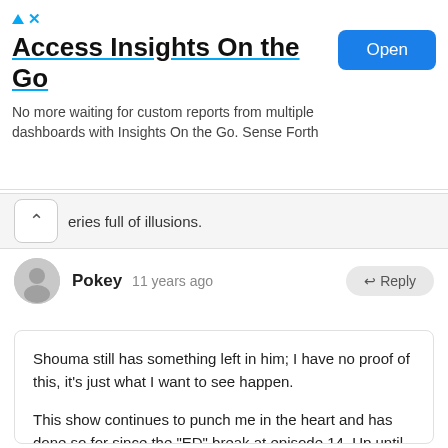[Figure (other): Advertisement banner: 'Access Insights On the Go' with Open button]
eries full of illusions.
Pokey  11 years ago
Shouma still has something left in him; I have no proof of this, it's just what I want to see happen.

This show continues to punch me in the heart and has done so for since the "ED" break at episode 14. Up until then it was cool, and had a macabre sense of playfulness to it; barring the whole Ringo/Project M business. But the Princess of Lies episode swung this cat into a whole new place, and since then it's been one punch after the other.